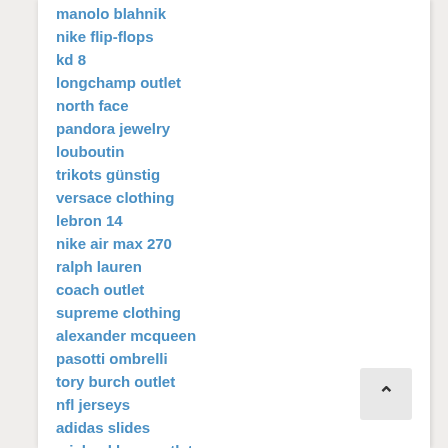manolo blahnik
nike flip-flops
kd 8
longchamp outlet
north face
pandora jewelry
louboutin
trikots günstig
versace clothing
lebron 14
nike air max 270
ralph lauren
coach outlet
supreme clothing
alexander mcqueen
pasotti ombrelli
tory burch outlet
nfl jerseys
adidas slides
michael kors outlet